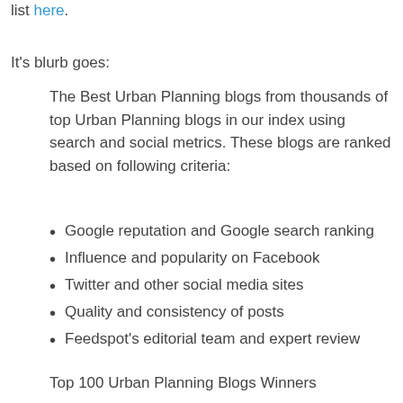list here.
It's blurb goes:
The Best Urban Planning blogs from thousands of top Urban Planning blogs in our index using search and social metrics. These blogs are ranked based on following criteria:
Google reputation and Google search ranking
Influence and popularity on Facebook
Twitter and other social media sites
Quality and consistency of posts
Feedspot's editorial team and expert review
Top 100 Urban Planning Blogs Winners